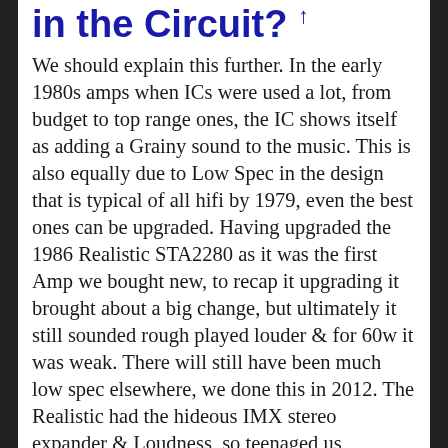in the Circuit? ↑
We should explain this further. In the early 1980s amps when ICs were used a lot, from budget to top range ones, the IC shows itself as adding a Grainy sound to the music. This is also equally due to Low Spec in the design that is typical of all hifi by 1979, even the best ones can be upgraded. Having upgraded the 1986 Realistic STA2280 as it was the first Amp we bought new, to recap it upgrading it brought about a big change, but ultimately it still sounded rough played louder & for 60w it was weak. There will still have been much low spec elsewhere, we done this in 2012. The Realistic had the hideous IMX stereo expander & Loudness, so teenaged us knowing no better used both to try to get Bass out of the thing. On trying it in 2012 like that it sounded ridiculous & still unable to give real bass as the circuit was so limited. Moving onto late 2014, we upgraded the 2007 Marantz PM6002